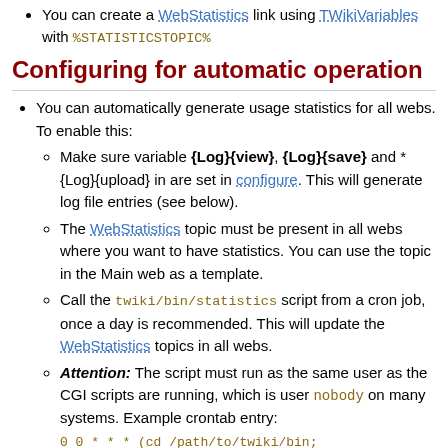You can create a WebStatistics link using TWikiVariables with %STATISTICSTOPIC%
Configuring for automatic operation
You can automatically generate usage statistics for all webs. To enable this:
Make sure variable {Log}{view}, {Log}{save} and *{Log}{upload} in are set in configure. This will generate log file entries (see below).
The WebStatistics topic must be present in all webs where you want to have statistics. You can use the topic in the Main web as a template.
Call the twiki/bin/statistics script from a cron job, once a day is recommended. This will update the WebStatistics topics in all webs.
Attention: The script must run as the same user as the CGI scripts are running, which is user nobody on many systems. Example crontab entry: 0 0 * * * (cd /path/to/twiki/bin; ./statistics >/dev/null 2>&1)
There is a workaround in case you can't run the